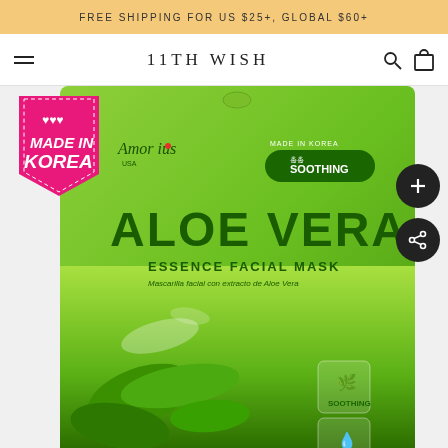FREE SHIPPING FOR US $25+, GLOBAL $60+
11TH WISH
[Figure (photo): Amorus USA Aloe Vera Essence Facial Mask product package on green background with aloe vera plant imagery. Package reads: MADE IN KOREA, SOOTHING, ALOE VERA ESSENCE FACIAL MASK, Mascarilla facial con extracto de Aloe Vera, with soothing and hydrating icons.]
[Figure (illustration): Made in Korea pink badge with hearts]